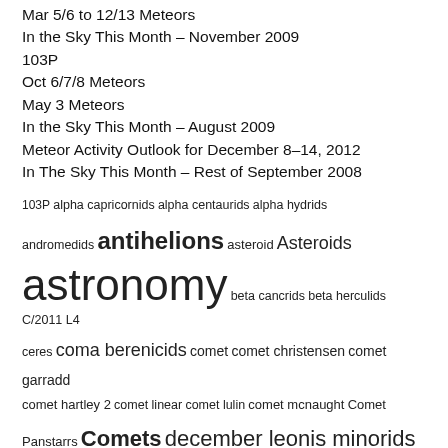Mar 5/6 to 12/13 Meteors
In the Sky This Month – November 2009
103P
Oct 6/7/8 Meteors
May 3 Meteors
In the Sky This Month – August 2009
Meteor Activity Outlook for December 8–14, 2012
In The Sky This Month – Rest of September 2008
103P alpha capricornids alpha centaurids alpha hydrids andromedids antihelions asteroid Asteroids astronomy beta cancrids beta herculids C/2011 L4 ceres coma berenicids comet comet christensen comet garradd comet hartley 2 comet linear comet lulin comet mcnaught Comet Panstarrs Comets december leonis minorids december sigma virginids delta aurigids draconids epsilon geminids eta